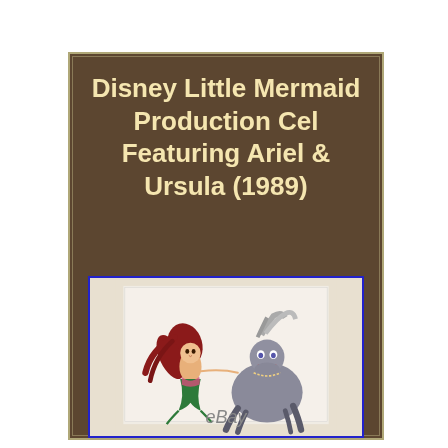Disney Little Mermaid Production Cel Featuring Ariel & Ursula (1989)
[Figure (photo): Production cel artwork showing Ariel (the little mermaid with red hair and green fin) and Ursula (the sea witch) facing each other, mounted in a white mat/frame with blue border. eBay watermark at bottom.]